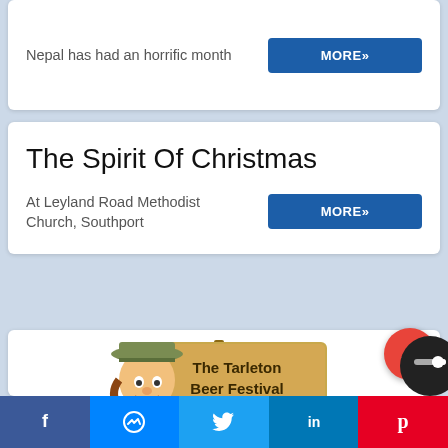Nepal has had an horrific month
MORE »
The Spirit Of Christmas
At Leyland Road Methodist Church, Southport
MORE »
[Figure (illustration): Cartoon character in overalls and hat holding a beer mug and a wooden sign reading 'The Tarleton Beer Festival July 4th - 6th']
Facebook | Messenger | Twitter | LinkedIn | Pinterest